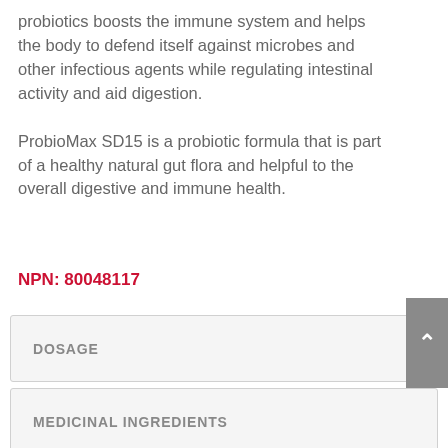probiotics boosts the immune system and helps the body to defend itself against microbes and other infectious agents while regulating intestinal activity and aid digestion.

ProbioMax SD15 is a probiotic formula that is part of a healthy natural gut flora and helpful to the overall digestive and immune health.
NPN: 80048117
DOSAGE
MEDICINAL INGREDIENTS
CAUTIONS AND WARNINGS